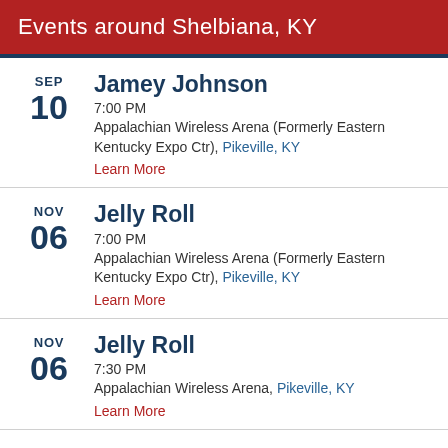Events around Shelbiana, KY
SEP 10 | Jamey Johnson | 7:00 PM | Appalachian Wireless Arena (Formerly Eastern Kentucky Expo Ctr), Pikeville, KY | Learn More
NOV 06 | Jelly Roll | 7:00 PM | Appalachian Wireless Arena (Formerly Eastern Kentucky Expo Ctr), Pikeville, KY | Learn More
NOV 06 | Jelly Roll | 7:30 PM | Appalachian Wireless Arena, Pikeville, KY | Learn More